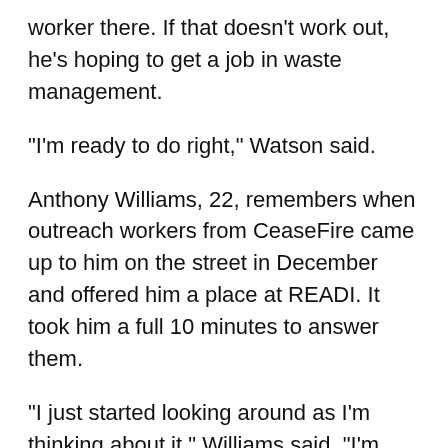worker there. If that doesn't work out, he's hoping to get a job in waste management.
“I’m ready to do right,” Watson said.
Anthony Williams, 22, remembers when outreach workers from CeaseFire came up to him on the street in December and offered him a place at READI. It took him a full 10 minutes to answer them.
“I just started looking around as I’m thinking about it,” Williams said. “I’m like, ‘hell yeah!’ That’s all I ever wanted was a chance for people outside of my blood family to show that they care about me. Now I’ve got that.”